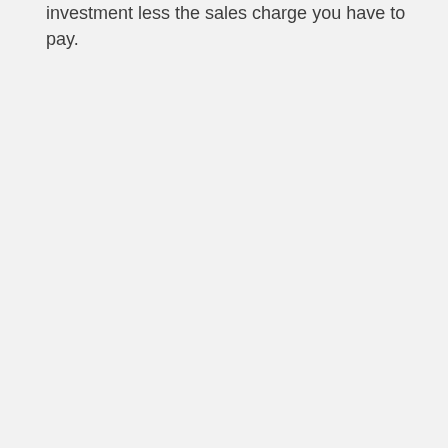investment less the sales charge you have to pay.